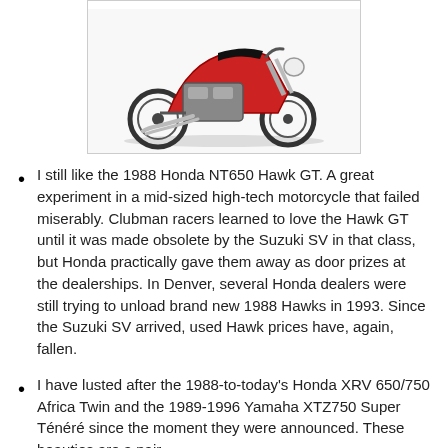[Figure (photo): Photograph of a 1988 Honda NT650 Hawk GT motorcycle, red and silver, shown in profile against a white background]
I still like the 1988 Honda NT650 Hawk GT. A great experiment in a mid-sized high-tech motorcycle that failed miserably. Clubman racers learned to love the Hawk GT until it was made obsolete by the Suzuki SV in that class, but Honda practically gave them away as door prizes at the dealerships. In Denver, several Honda dealers were still trying to unload brand new 1988 Hawks in 1993. Since the Suzuki SV arrived, used Hawk prices have, again, fallen.
I have lusted after the 1988-to-today's Honda XRV 650/750 Africa Twin and the 1989-1996 Yamaha XTZ750 Super Ténéré since the moment they were announced. These beauties are a pair